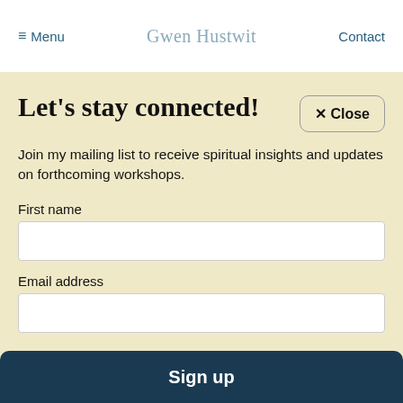≡ Menu   Gwen Hustwit   Contact
Let's stay connected!
✕ Close
Join my mailing list to receive spiritual insights and updates on forthcoming workshops.
First name
Email address
Sign up